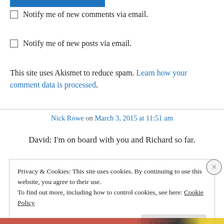Notify me of new comments via email.
Notify me of new posts via email.
This site uses Akismet to reduce spam. Learn how your comment data is processed.
Nick Rowe on March 3, 2015 at 11:51 am
David: I'm on board with you and Richard so far.
Privacy & Cookies: This site uses cookies. By continuing to use this website, you agree to their use. To find out more, including how to control cookies, see here: Cookie Policy